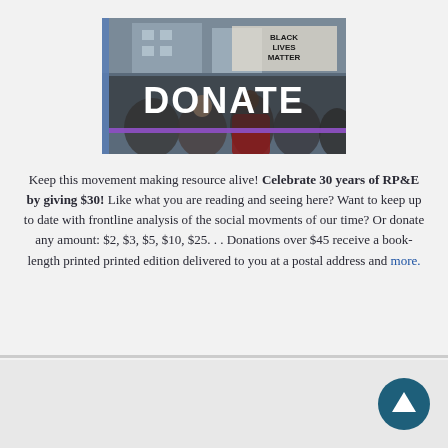[Figure (illustration): Donate banner image showing protesters at a rally with 'Black Lives Matter' sign, overlaid with large white text 'DONATE' and a purple horizontal bar beneath it]
Keep this movement making resource alive! Celebrate 30 years of RP&E by giving $30! Like what you are reading and seeing here? Want to keep up to date with frontline analysis of the social movments of our time? Or donate any amount: $2, $3, $5, $10, $25. . . Donations over $45 receive a book-length printed printed edition delivered to you at a postal address and more.
Reimagine!
Race Poverty and the Environment
RadioRPE
C/O MSC 436 14th St. Fifth Floor, Oakland, CA 94612